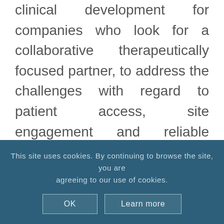clinical development for companies who look for a collaborative therapeutically focused partner, to address the challenges with regard to patient access, site engagement and reliable execution of their clinical trials." Arnoud Huisman is a highly skilled Senior Executive in the Life Sciences industry with more than 25 years of success spanning pharmaceuticals, biotech,
This site uses cookies. By continuing to browse the site, you are agreeing to our use of cookies.